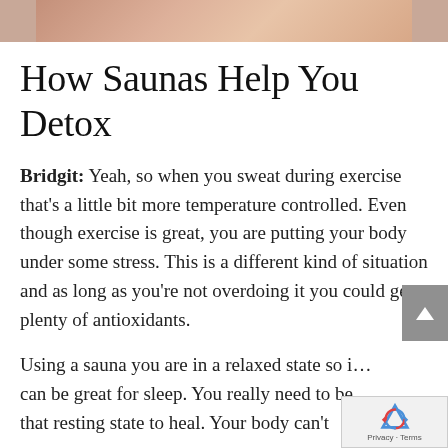[Figure (photo): Partial photo of a person, cropped at top of page, skin tones visible]
How Saunas Help You Detox
Bridgit: Yeah, so when you sweat during exercise that’s a little bit more temperature controlled. Even though exercise is great, you are putting your body under some stress. This is a different kind of situation and as long as you’re not overdoing it you could get plenty of antioxidants.
Using a sauna you are in a relaxed state so i... can be great for sleep. You really need to be... that resting state to heal. Your body can’t